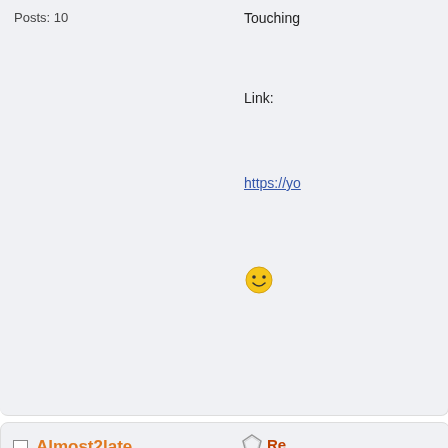Posts: 10
Touching
Link:
https://yo
[Figure (illustration): Yellow smiley face emoji]
Almost2late
Member
Posts: 1,447
Re
« R
am »
Electric L
https://yo
leatherman
Member
Re
« R
am »
so you k
[Figure (photo): Photo of a bald man wearing sunglasses, smiling]